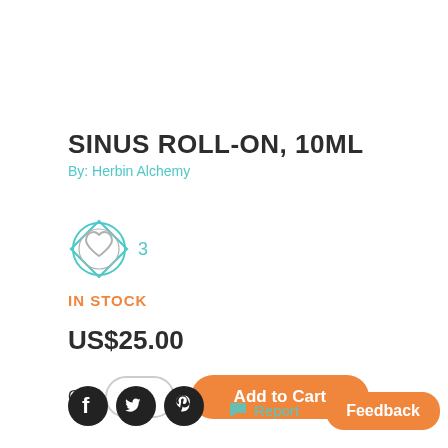SINUS ROLL-ON, 10ML
By: Herbin Alchemy
[Figure (illustration): Teal diamond/circle outline with a heart icon inside, representing a favorites/likes badge]
3
IN STOCK
US$25.00
Qty  1  Add to Cart
[Figure (illustration): Social media icons: Facebook, Twitter, Pinterest in black circles; flag icon with 'Report' in teal; orange 'Feedback' button]